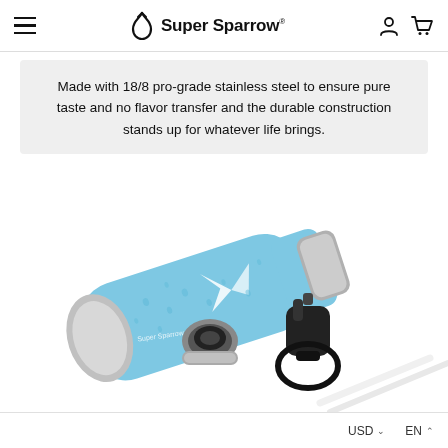Super Sparrow
Made with 18/8 pro-grade stainless steel to ensure pure taste and no flavor transfer and the durable construction stands up for whatever life brings.
[Figure (photo): Light blue Super Sparrow stainless steel water bottle lying on its side with water droplets, accompanied by two detachable lids — a standard cap and a straw/sport lid with a strap — and two white straws visible in the lower right corner.]
USD  EN